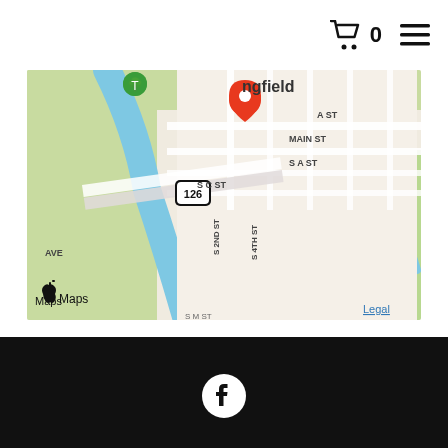🛒 0 ☰
[Figure (map): Apple Maps screenshot showing Springfield area with a red location pin near route 126, showing streets including MAIN ST, S A ST, S C ST, S 2ND ST, S 4TH ST, AVE, and a river/waterway running diagonally. Map shows green park areas and urban grid. Apple Maps logo and Legal link visible at bottom.]
[Figure (illustration): Facebook social media icon — white F logo on black circular background, displayed in the dark footer area.]